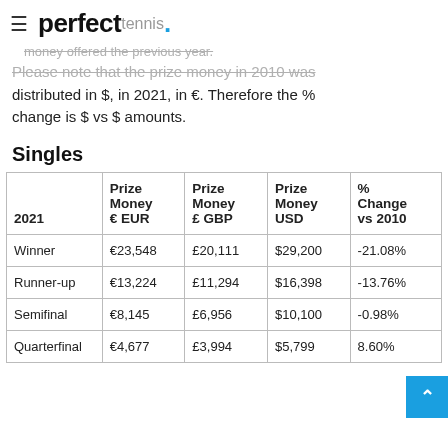perfect tennis.
money offered the previous year. Please note that the prize money in 2010 was distributed in $, in 2021, in €. Therefore the % change is $ vs $ amounts.
Singles
| 2021 | Prize Money € EUR | Prize Money £ GBP | Prize Money USD | % Change vs 2010 |
| --- | --- | --- | --- | --- |
| Winner | €23,548 | £20,111 | $29,200 | -21.08% |
| Runner-up | €13,224 | £11,294 | $16,398 | -13.76% |
| Semifinal | €8,145 | £6,956 | $10,100 | -0.98% |
| Quarterfinal | €4,677 | £3,994 | $5,799 | 8.60% |